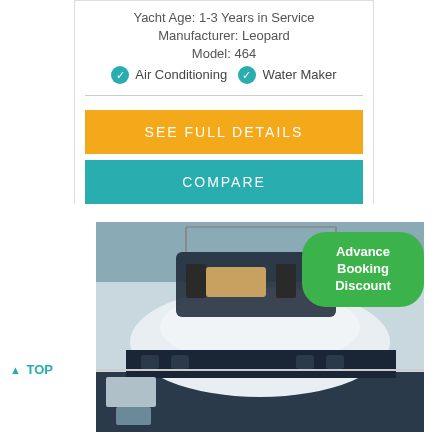Yacht Age: 1-3 Years in Service
Manufacturer: Leopard
Model: 464
Air Conditioning  Water Maker
SEE FULL DETAILS
COMPARE
[Figure (photo): Aerial view of a modern catamaran yacht showing deck and cabin from above, with an 'Advance Booking Discount' badge overlay.]
▲ TOP